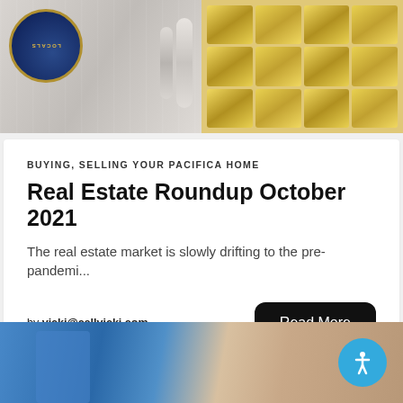[Figure (photo): Top banner with two images: left shows a circular medallion/badge with blue background and gold trim on a light background, right shows gold/metallic rectangular shapes arranged in a grid pattern]
BUYING, SELLING YOUR PACIFICA HOME
Real Estate Roundup October 2021
The real estate market is slowly drifting to the pre-pandemi...
by vicki@callvicki.com
[Figure (photo): Bottom partial image showing a worker in blue uniform laying tiles or roofing materials]
[Figure (other): Blue circular accessibility button with person icon in bottom right corner]